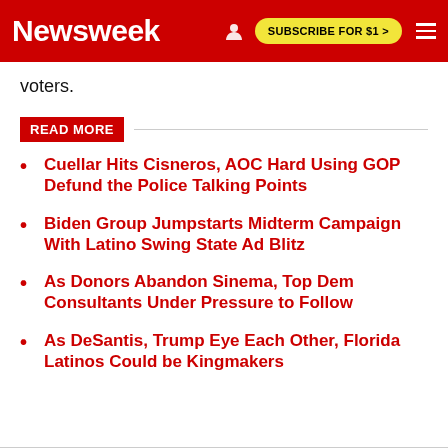Newsweek | SUBSCRIBE FOR $1 >
voters.
READ MORE
Cuellar Hits Cisneros, AOC Hard Using GOP Defund the Police Talking Points
Biden Group Jumpstarts Midterm Campaign With Latino Swing State Ad Blitz
As Donors Abandon Sinema, Top Dem Consultants Under Pressure to Follow
As DeSantis, Trump Eye Each Other, Florida Latinos Could be Kingmakers